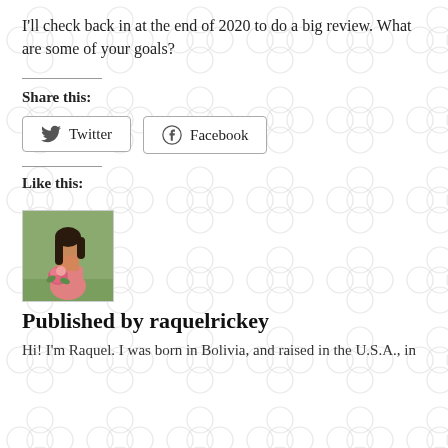I'll check back in at the end of 2020 to do a big review. What are some of your goals?
Share this:
Twitter
Facebook
Like this:
[Figure (photo): Photo of a woman with long dark hair holding a bouquet of pink flowers, wearing a pink dress, outdoors with green background.]
Published by raquelrickey
Hi! I'm Raquel. I was born in Bolivia, and raised in the U.S.A., in